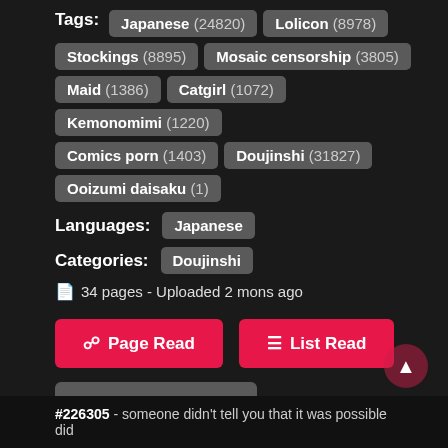Tags: Japanese (24820) Lolicon (8978) Stockings (8895) Mosaic censorship (3805) Maid (1386) Catgirl (1072) Kemonomimi (1220) Comics porn (1403) Doujinshi (31827) Ooizumi daisaku (1)
Languages: Japanese
Categories: Doujinshi
34 pages - Uploaded 2 mons ago
Page Read
List Read
Add To Favorite
#226305 - someone didn't tell you that it was possible did they? [Ooizumi daisaku]